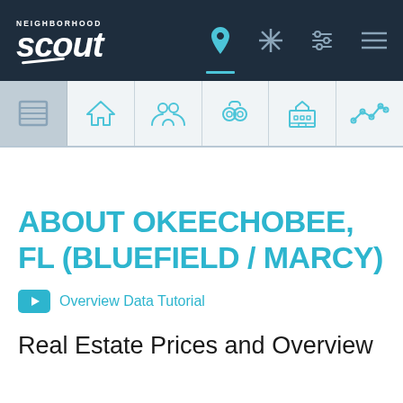NeighborhoodScout navigation bar with logo and icons
[Figure (screenshot): NeighborhoodScout top navigation bar with logo, location pin icon, asterisk icon, sliders icon, and menu icon]
[Figure (screenshot): Secondary icon bar with tabs: overview (active), home, people, crime/handcuffs, building/school, line chart]
ABOUT OKEECHOBEE, FL (BLUEFIELD / MARCY)
Overview Data Tutorial
Real Estate Prices and Overview